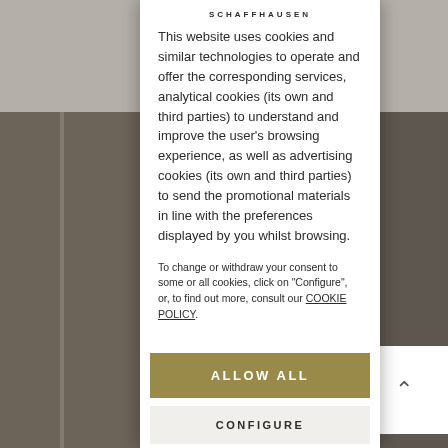SCHAFFHAUSEN
This website uses cookies and similar technologies to operate and offer the corresponding services, analytical cookies (its own and third parties) to understand and improve the user's browsing experience, as well as advertising cookies (its own and third parties) to send the promotional materials in line with the preferences displayed by you whilst browsing.
To change or withdraw your consent to some or all cookies, click on "Configure", or, to find out more, consult our COOKIE POLICY.
ALLOW ALL
CONFIGURE